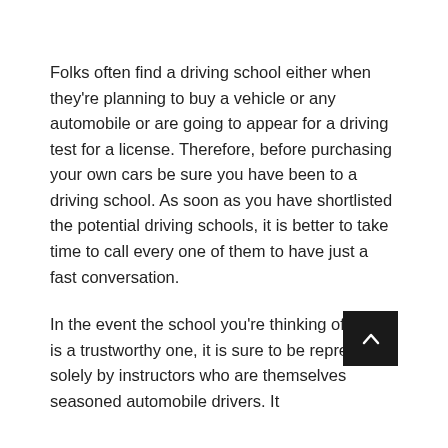Folks often find a driving school either when they're planning to buy a vehicle or any automobile or are going to appear for a driving test for a license. Therefore, before purchasing your own cars be sure you have been to a driving school. As soon as you have shortlisted the potential driving schools, it is better to take time to call every one of them to have just a fast conversation.
In the event the school you're thinking of joining is a trustworthy one, it is sure to be represented solely by instructors who are themselves seasoned automobile drivers. It